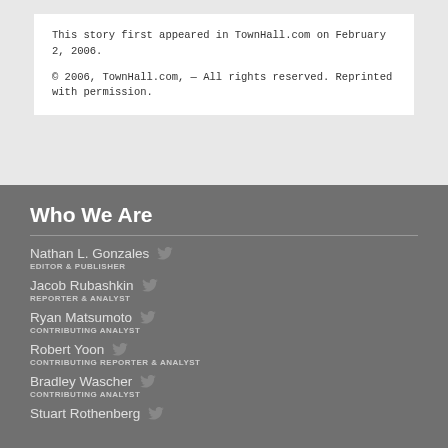This story first appeared in TownHall.com on February 2, 2006.
© 2006, TownHall.com, — All rights reserved. Reprinted with permission.
Who We Are
Nathan L. Gonzales — EDITOR & PUBLISHER
Jacob Rubashkin — REPORTER & ANALYST
Ryan Matsumoto — CONTRIBUTING ANALYST
Robert Yoon — CONTRIBUTING REPORTER & ANALYST
Bradley Wascher — CONTRIBUTING ANALYST
Stuart Rothenberg